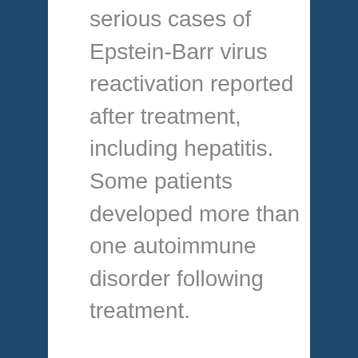serious cases of Epstein-Barr virus reactivation reported after treatment, including hepatitis. Some patients developed more than one autoimmune disorder following treatment.
We will continue to monitor the medical literature for reports of cardiovascular events with Lemtrada use and immune-mediated reactions involving